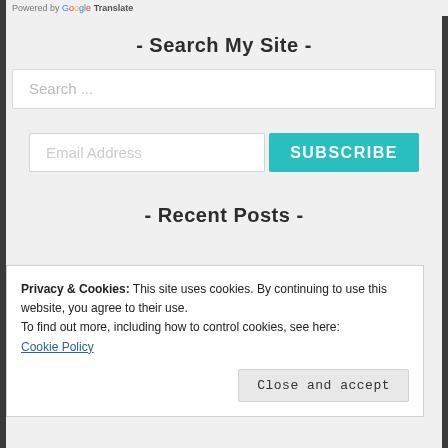Powered by Google Translate
- Search My Site -
Search ...
Email Address
SUBSCRIBE
- Recent Posts -
Privacy & Cookies: This site uses cookies. By continuing to use this website, you agree to their use.
To find out more, including how to control cookies, see here:
Cookie Policy
Close and accept